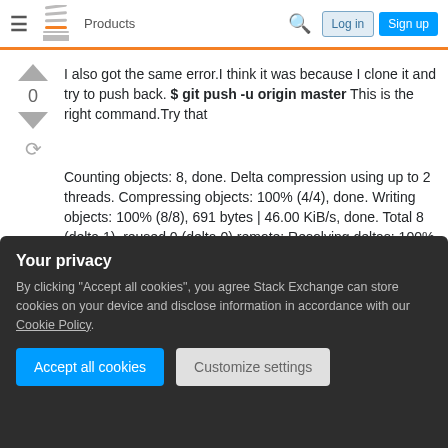Stack Overflow navigation: hamburger menu, logo, Products, search, Log in, Sign up
I also got the same error.I think it was because I clone it and try to push back. $ git push -u origin master This is the right command.Try that
Counting objects: 8, done. Delta compression using up to 2 threads. Compressing objects: 100% (4/4), done. Writing objects: 100% (8/8), 691 bytes | 46.00 KiB/s, done. Total 8 (delta 1), reused 0 (delta 0) remote: Resolving deltas: 100% (1/1), done.
[new branch] master -> master Branch master
Your privacy
By clicking "Accept all cookies", you agree Stack Exchange can store cookies on your device and disclose information in accordance with our Cookie Policy.
Accept all cookies
Customize settings